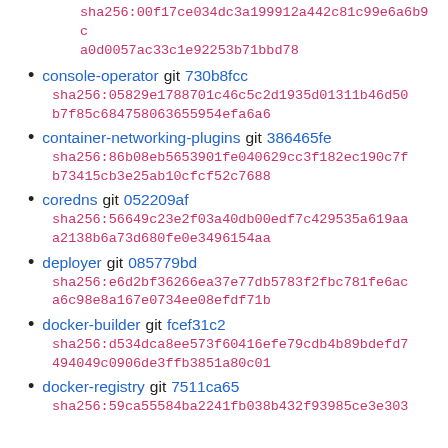sha256:00f17ce034dc3a199912a442c81c99e6a6b9ca0d0057ac33c1e92253b71bbd78
console-operator git 730b8fcc sha256:05829e1788701c46c5c2d1935d01311b46d50b7f85c684758063655954efa6a6
container-networking-plugins git 386465fe sha256:86b08eb5653901fe040629cc3f182ec190c7fb73415cb3e25ab10cfcf52c7688
coredns git 052209af sha256:56649c23e2f03a40db00edf7c429535a619aaa2138b6a73d680fe0e3496154aa
deployer git 085779bd sha256:e6d2bf36266ea37e77db5783f2fbc781fe6aca6c98e8a167e0734ee08efdf71b
docker-builder git fcef31c2 sha256:d534dca8ee573f60416efe79cdb4b89bdefd7494049c0906de3ffb3851a80c01
docker-registry git 7511ca65 sha256:59ca55584ba2241fb038b432f93985ce3e303